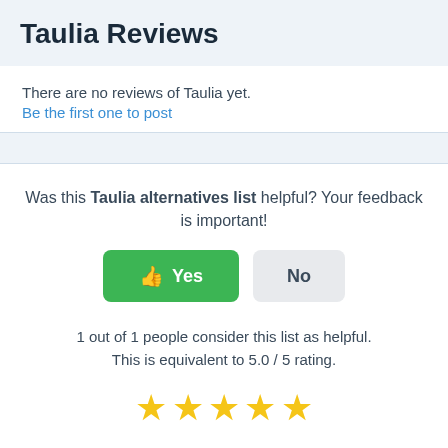Taulia Reviews
There are no reviews of Taulia yet.
Be the first one to post
Was this Taulia alternatives list helpful? Your feedback is important!
[Figure (other): Yes and No buttons. Yes button is green with thumbs up emoji. No button is grey.]
1 out of 1 people consider this list as helpful.
This is equivalent to 5.0 / 5 rating.
[Figure (other): Five gold star rating icons]